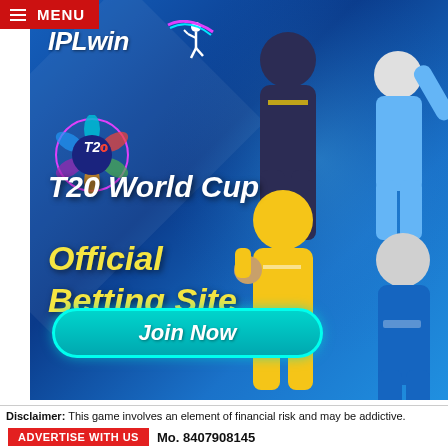MENU
[Figure (illustration): IPLwin T20 World Cup Official Betting Site advertisement banner featuring cricket players in jerseys, T20 logo, and a Join Now button on blue gradient background.]
IPLwin
T20 World Cup
Official Betting Site
Join Now
Disclaimer: This game involves an element of financial risk and may be addictive.
ADVERTISE WITH US   Mo. 8407908145